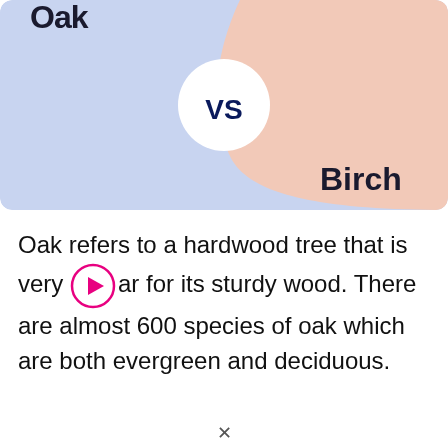[Figure (illustration): A comparison graphic showing 'Oak vs Birch'. Left half is light blue with 'Oak' text (partially visible at top), right half is light peach/salmon with 'Birch' text at bottom right. A white circle in the center contains the bold dark blue text 'VS'.]
Oak refers to a hardwood tree that is very popular for its sturdy wood. There are almost 600 species of oak which are both evergreen and deciduous.